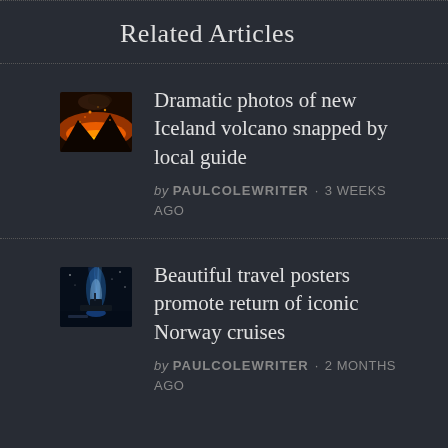Related Articles
Dramatic photos of new Iceland volcano snapped by local guide — by PAULCOLEWRITER · 3 WEEKS AGO
Beautiful travel posters promote return of iconic Norway cruises — by PAULCOLEWRITER · 2 MONTHS AGO